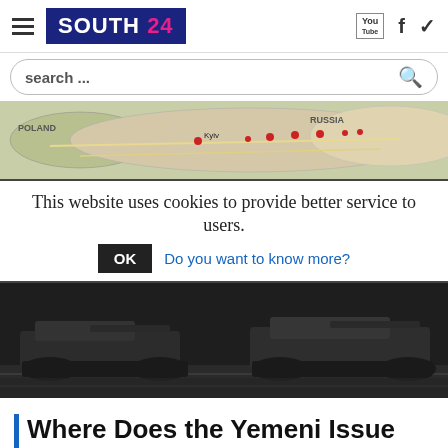South 24 — navigation header with logo, hamburger menu, and social icons (YouTube, Facebook, Twitter)
search ...
[Figure (map): Map of Ukraine and Russia showing Kyiv location with red markers along the border, labeled POLAND and RUSSIA]
This website uses cookies to provide better service to users. OK Do you want to know more?
[Figure (photo): Black and white photo of military tanks/armored vehicles driving on a road]
Where Does the Yemeni Issue Stand Among the Ramifications the Russian-